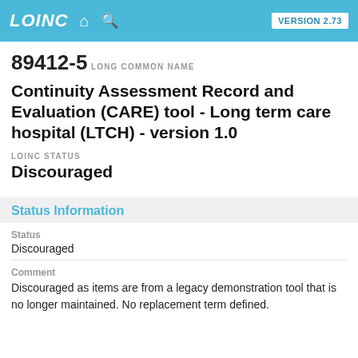LOINC VERSION 2.73
89412-5
LONG COMMON NAME
Continuity Assessment Record and Evaluation (CARE) tool - Long term care hospital (LTCH) - version 1.0
LOINC STATUS
Discouraged
Status Information
Status
Discouraged
Comment
Discouraged as items are from a legacy demonstration tool that is no longer maintained. No replacement term defined.